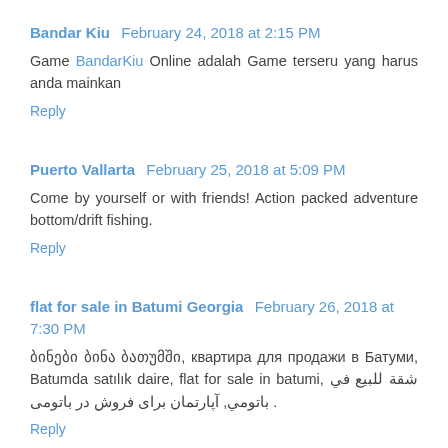Bandar Kiu  February 24, 2018 at 2:15 PM
Game BandarKiu Online adalah Game terseru yang harus anda mainkan
Reply
Puerto Vallarta  February 25, 2018 at 5:09 PM
Come by yourself or with friends! Action packed adventure bottom/drift fishing.
Reply
flat for sale in Batumi Georgia  February 26, 2018 at 7:30 PM
ბინები ბინა ბათუმში, квартира для продажи в Батуми, Batumda satılık daire, flat for sale in batumi, شقة للبيع في باتومي, آپارتمان برای فروش در باتومی .
Reply